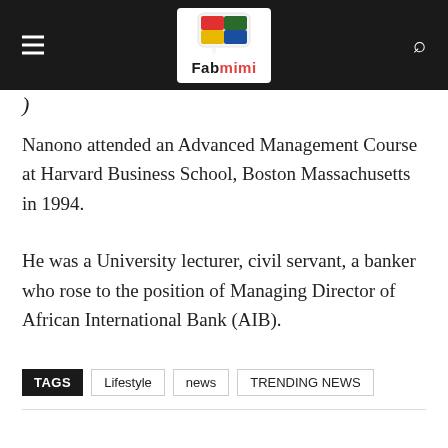Fabmimi
Nanono attended an Advanced Management Course at Harvard Business School, Boston Massachusetts in 1994.
He was a University lecturer, civil servant, a banker who rose to the position of Managing Director of African International Bank (AIB).
TAGS  Lifestyle  news  TRENDING NEWS